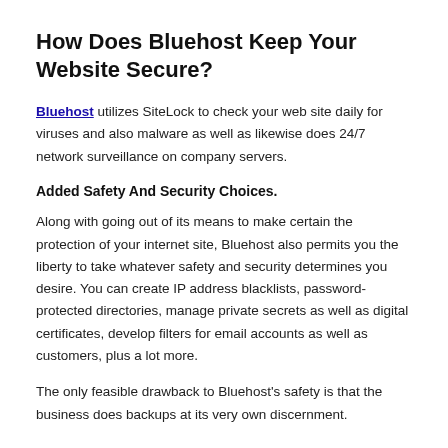How Does Bluehost Keep Your Website Secure?
Bluehost utilizes SiteLock to check your web site daily for viruses and also malware as well as likewise does 24/7 network surveillance on company servers.
Added Safety And Security Choices.
Along with going out of its means to make certain the protection of your internet site, Bluehost also permits you the liberty to take whatever safety and security determines you desire. You can create IP address blacklists, password-protected directories, manage private secrets as well as digital certificates, develop filters for email accounts as well as customers, plus a lot more.
The only feasible drawback to Bluehost's safety is that the business does backups at its very own discernment.